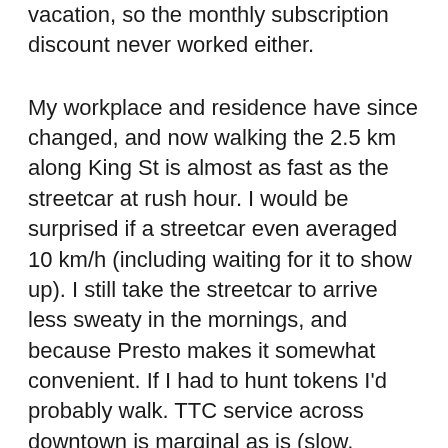vacation, so the monthly subscription discount never worked either.
My workplace and residence have since changed, and now walking the 2.5 km along King St is almost as fast as the streetcar at rush hour. I would be surprised if a streetcar even averaged 10 km/h (including waiting for it to show up). I still take the streetcar to arrive less sweaty in the mornings, and because Presto makes it somewhat convenient. If I had to hunt tokens I'd probably walk. TTC service across downtown is marginal as is (slow, inconsistent schedules, hot, and my stop was recently removed). I know it's not entirely the TTC's fault (Bombardier delays, lack of signal priority, mixed traffic, lack of traffic enforcement), but overall